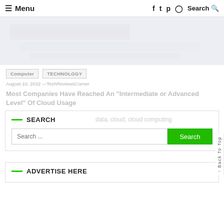≡ Menu   f  Twitter  Pinterest  Instagram  Search 🔍
[Figure (photo): Blurred/washed out photo, appears to show a white or light-colored device on a light background]
Computer
TECHNOLOGY
August 10, 2022 —TechReviewsCorner
Most Companies Have Reached An "Intermediate or Advanced Level" Of Cloud Usage
SEARCH
Search ...
ADVERTISE HERE